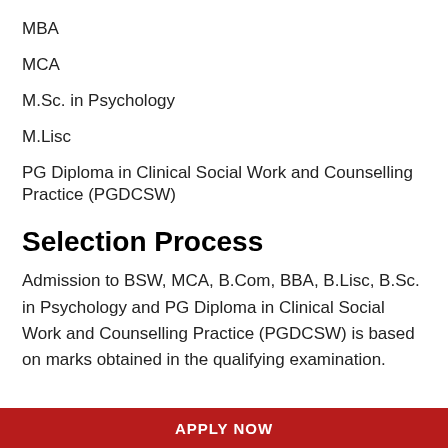MBA
MCA
M.Sc. in Psychology
M.Lisc
PG Diploma in Clinical Social Work and Counselling Practice (PGDCSW)
Selection Process
Admission to BSW, MCA, B.Com, BBA, B.Lisc, B.Sc. in Psychology and PG Diploma in Clinical Social Work and Counselling Practice (PGDCSW) is based on marks obtained in the qualifying examination.
APPLY NOW